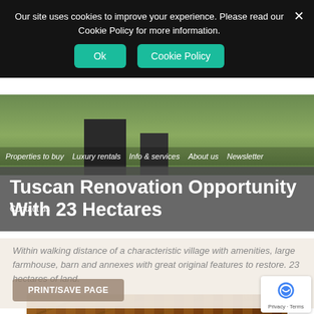Our site uses cookies to improve your experience. Please read our Cookie Policy for more information.
Ok
Cookie Policy
Properties to buy  Luxury rentals  Info & services  About us  Newsletter
Tuscan Renovation Opportunity With 23 Hectares
Contact us
Within walking distance of a characteristic village with amenities, large farmhouse, barn and annexes with great original features to restore. 23 hectares of land.
PRINT/SAVE PAGE
[Figure (photo): Interior photo of a Tuscan barn/farmhouse showing wooden beam ceiling structure and stone/brick walls]